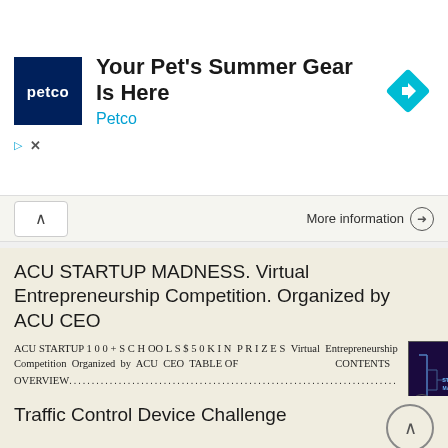[Figure (screenshot): Petco advertisement banner. Shows Petco logo (dark blue square with 'petco' text), headline 'Your Pet's Summer Gear Is Here', brand name 'Petco' in blue, and a blue diamond navigation arrow icon on the right.]
More information →
ACU STARTUP MADNESS. Virtual Entrepreneurship Competition. Organized by ACU CEO
ACU STARTUP 1 0 0 + S C H OO L S $ 5 0 K I N P R I Z E S Virtual Entrepreneurship Competition Organized by ACU CEO TABLE OF CONTENTS OVERVIEW................................................................................
[Figure (screenshot): Thumbnail image of ACU Startup Madness event - purple/dark background with bracket tournament graphic and 'ACU STARTUP MADNESS' text in blue.]
More information →
Traffic Control Device Challenge
2017 Traffic Control Device Challenge